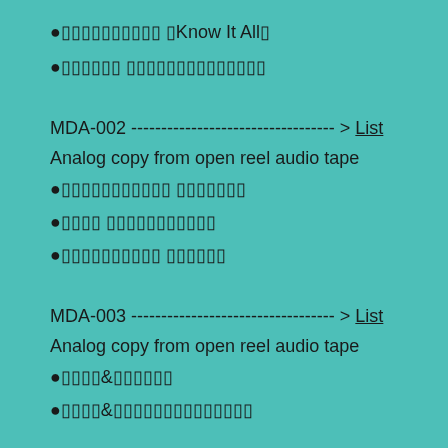●□□□□□□□□□□ □Know It All□
●□□□□□□ □□□□□□□□□□□□□□□
MDA-002 ---------------------------------- > List
Analog copy from open reel audio tape
●□□□□□□□□□□□ □□□□□□□
●□□□□ □□□□□□□□□□□
●□□□□□□□□□□□ □□□□□□
MDA-003 ---------------------------------- > List
Analog copy from open reel audio tape
●□□□□&□□□□□□
●□□□□&□□□□□□□□□□□□□□